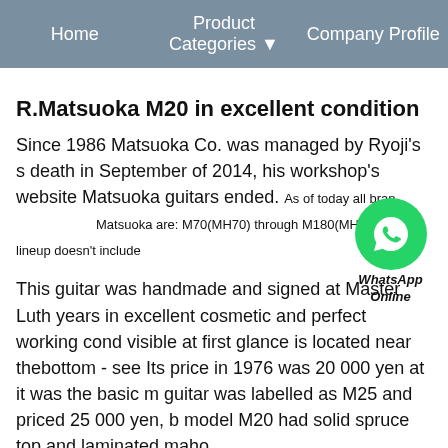Home   Product Categories ▼   Company Profile
R.Matsuoka M20 in excellent condition
Since 1986 Matsuoka Co. was managed by Ryoji's s death in September of 2014, his workshop's website Matsuoka guitars ended. As of today all brand Matsuoka are: M70(MH70) through M180(MH180). This lineup doesn't include
[Figure (logo): WhatsApp Online logo with green circle phone icon]
This guitar was handmade and signed at Master Luth years in excellent cosmetic and perfect working cond visible at first glance is located near thebottom - see Its price in 1976 was 20 000 yen at it was the basic m guitar was labelled as M25 and priced 25 000 yen, b model M20 had solid spruce top and laminated maho